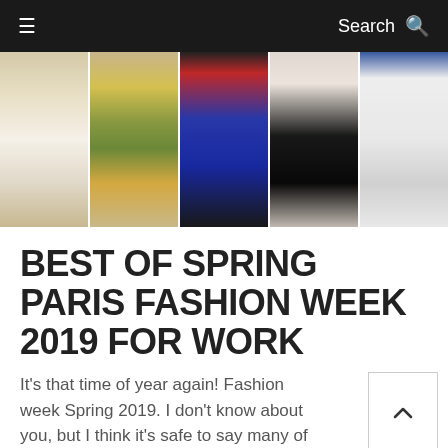≡   Search 🔍
[Figure (photo): A strip of five fashion runway photos showing models in spring 2019 Paris Fashion Week outfits: white wide-leg pants with long white coat, floral maxi dress, red top with blue metallic skirt, black midi skirt with sheer blouse, white structured midi dress with ruffle hem.]
BEST OF SPRING PARIS FASHION WEEK 2019 FOR WORK
It's that time of year again! Fashion week Spring 2019. I don't know about you, but I think it's safe to say many of us look forward to it every season. Considering the Spring